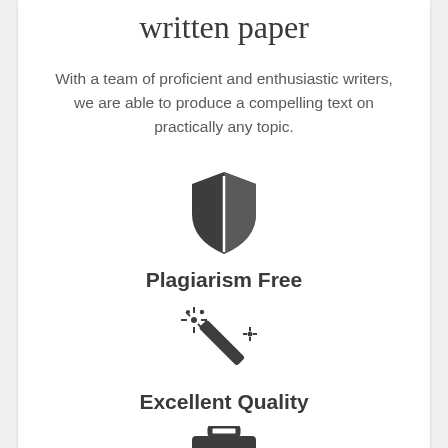written paper
With a team of proficient and enthusiastic writers, we are able to produce a compelling text on practically any topic.
[Figure (illustration): Shield icon with a vertical line dividing it, representing plagiarism protection]
Plagiarism Free
[Figure (illustration): Magic wand icon with sparkles, representing excellent quality]
Excellent Quality
[Figure (illustration): Briefcase icon, partially visible at bottom of page]